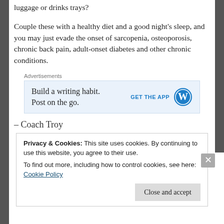luggage or drinks trays?
Couple these with a healthy diet and a good night’s sleep, and you may just evade the onset of sarcopenia, osteoporosis, chronic back pain, adult-onset diabetes and other chronic conditions.
[Figure (other): WordPress advertisement banner: 'Build a writing habit. Post on the go.' with GET THE APP button and WordPress logo]
– Coach Troy
Privacy & Cookies: This site uses cookies. By continuing to use this website, you agree to their use.
To find out more, including how to control cookies, see here: Cookie Policy